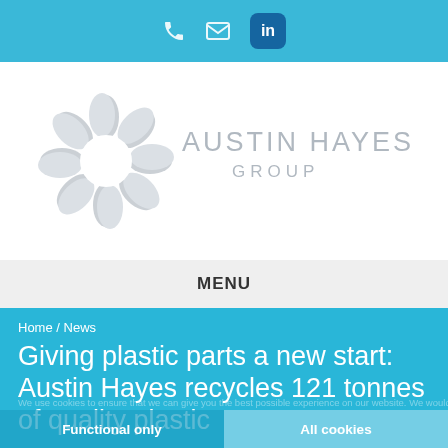Phone | Email | LinkedIn
[Figure (logo): Austin Hayes Group logo — a grey stylized flower/recycling symbol with text AUSTIN HAYES GROUP in grey]
MENU
Home / News
Giving plastic parts a new start: Austin Hayes recycles 121 tonnes of quality plastic
Functional only
All cookies